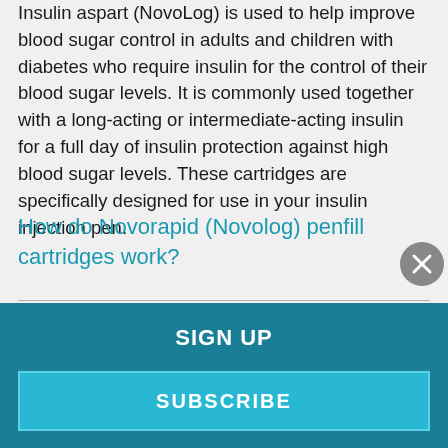Insulin aspart (NovoLog) is used to help improve blood sugar control in adults and children with diabetes who require insulin for the control of their blood sugar levels. It is commonly used together with a long-acting or intermediate-acting insulin for a full day of insulin protection against high blood sugar levels. These cartridges are specifically designed for use in your insulin injection pen.
How do Novorapid (Novolog) penfill cartridges work?
SIGN UP
SUBSCRIBE